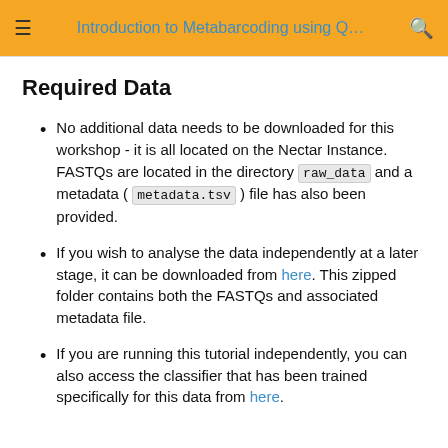Introduction to Metabarcoding using Q…
Required Data
No additional data needs to be downloaded for this workshop - it is all located on the Nectar Instance. FASTQs are located in the directory raw_data and a metadata ( metadata.tsv ) file has also been provided.
If you wish to analyse the data independently at a later stage, it can be downloaded from here. This zipped folder contains both the FASTQs and associated metadata file.
If you are running this tutorial independently, you can also access the classifier that has been trained specifically for this data from here.